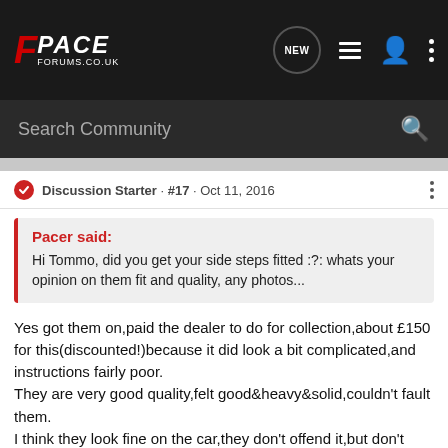[Figure (logo): FPace Forums.co.uk logo with red F and white PACE text on dark background, with navigation icons (NEW bubble, list, person, dots)]
Search Community
Discussion Starter · #17 · Oct 11, 2016
Pacer said:
Hi Tommo, did you get your side steps fitted :?: whats your opinion on them fit and quality, any photos...
Yes got them on,paid the dealer to do for collection,about £150 for this(discounted!)because it did look a bit complicated,and instructions fairly poor.
They are very good quality,felt good&heavy&solid,couldn't fault them.
I think they look fine on the car,they don't offend it,but don't really do a whole lot for it either,not sure if I would bother again
If you are going to buy of eBay,the price is £350,but another guy on here bid I think £250&got them for that.